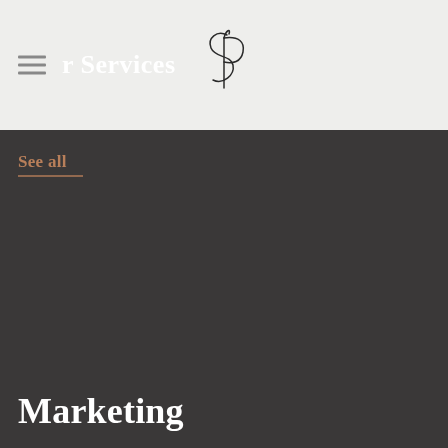r Services
[Figure (logo): Stylized cursive monogram logo with intertwined letters, possibly 'SP' or similar, in a delicate serif/script style]
See all
Marketing